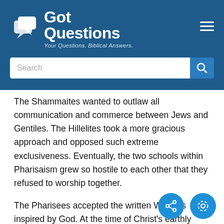GotQuestions — Your Questions. Biblical Answers.
The Shammaites wanted to outlaw all communication and commerce between Jews and Gentiles. The Hillelites took a more gracious approach and opposed such extreme exclusiveness. Eventually, the two schools within Pharisaism grew so hostile to each other that they refused to worship together.
The Pharisees accepted the written Word as inspired by God. At the time of Christ's earthly ministry, this would have been what we now call the Old Testament. Unfortunately, the Pharisees gave eq...